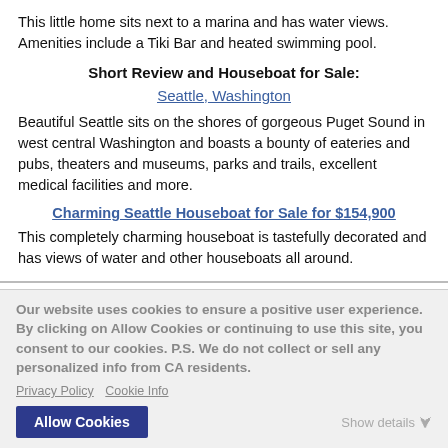This little home sits next to a marina and has water views. Amenities include a Tiki Bar and heated swimming pool.
Short Review and Houseboat for Sale:
Seattle, Washington
Beautiful Seattle sits on the shores of gorgeous Puget Sound in west central Washington and boasts a bounty of eateries and pubs, theaters and museums, parks and trails, excellent medical facilities and more.
Charming Seattle Houseboat for Sale for $154,900
This completely charming houseboat is tastefully decorated and has views of water and other houseboats all around.
Our website uses cookies to ensure a positive user experience. By clicking on Allow Cookies or continuing to use this site, you consent to our cookies. P.S. We do not collect or sell any personalized info from CA residents.
Privacy Policy  Cookie Info
Allow Cookies
Show details